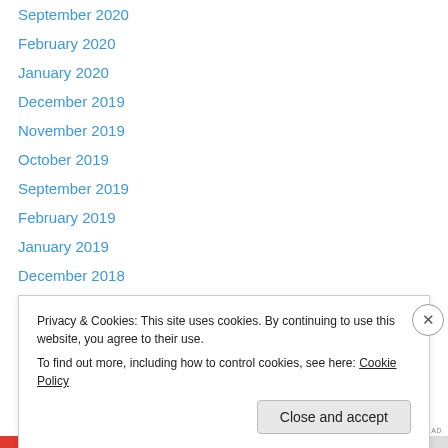September 2020
February 2020
January 2020
December 2019
November 2019
October 2019
September 2019
February 2019
January 2019
December 2018
November 2018
October 2018
September 2018
February 2018
Privacy & Cookies: This site uses cookies. By continuing to use this website, you agree to their use.
To find out more, including how to control cookies, see here: Cookie Policy
Close and accept